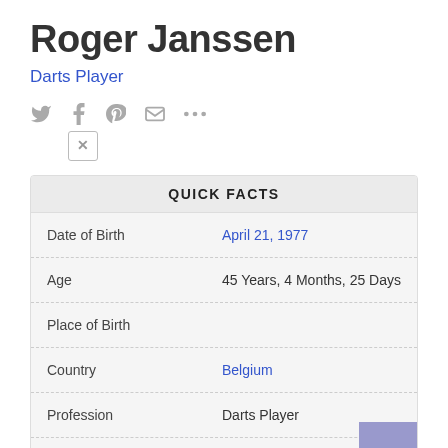Roger Janssen
Darts Player
[Figure (infographic): Social media share icons: Twitter bird, Facebook f, Pinterest P, envelope/email, ellipsis (more), and an X icon with border]
|  |  |
| --- | --- |
| QUICK FACTS |  |
| Date of Birth | April 21, 1977 |
| Age | 45 Years, 4 Months, 25 Days |
| Place of Birth |  |
| Country | Belgium |
| Profession | Darts Player |
| Horoscope | Taurus |